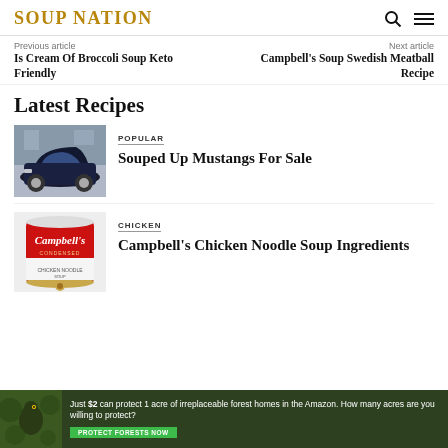SOUP NATION
Previous article
Is Cream Of Broccoli Soup Keto Friendly
Next article
Campbell's Soup Swedish Meatball Recipe
Latest Recipes
[Figure (photo): Dark blue Ford Mustang car at an auto show]
POPULAR
Souped Up Mustangs For Sale
[Figure (photo): Campbell's condensed chicken noodle soup can with red label]
CHICKEN
Campbell's Chicken Noodle Soup Ingredients
[Figure (photo): Advertisement: Just $2 can protect 1 acre of irreplaceable forest homes in the Amazon. How many acres are you willing to protect? PROTECT FORESTS NOW]